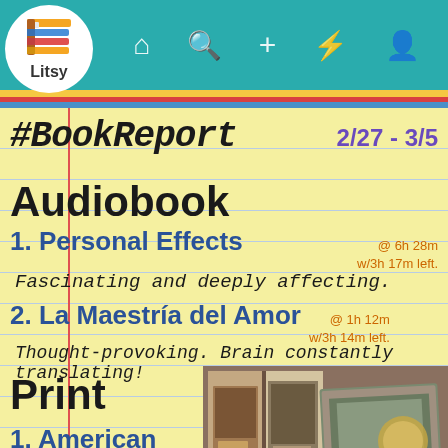[Figure (screenshot): Litsy app navigation bar with logo, home, search, add, lightning, and profile icons on teal background]
#BookReport 2/27 - 3/5
Audiobook
1. Personal Effects @ 6h 28m w/3h 17m left.
Fascinating and deeply affecting.
2. La Maestría del Amor @ 1h 12m w/3h 14m left.
Thought-provoking. Brain constantly translating!
Print
1. American Decay
[Figure (photo): Photo collage showing two open book/magazine spreads with interior room photographs]